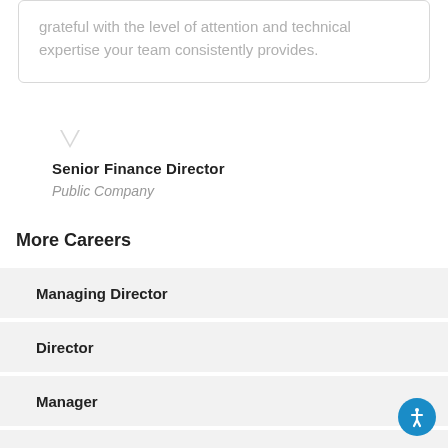grateful with the level of attention and technical expertise your team consistently provides.
Senior Finance Director
Public Company
More Careers
Managing Director
Director
Manager
Consultant